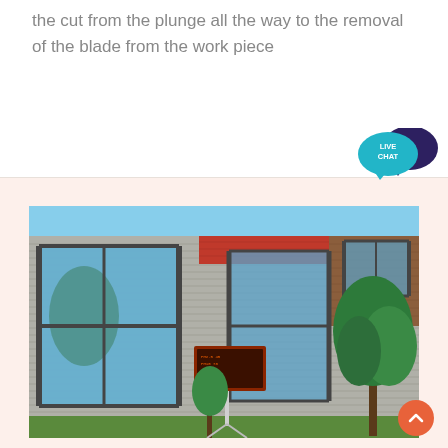the cut from the plunge all the way to the removal of the blade from the work piece
[Figure (other): Live Chat widget: teal speech bubble with 'LIVE CHAT' text and a dark navy speech bubble behind it]
[Figure (photo): Exterior photograph of an industrial or commercial building with corrugated metal siding in grey and red, large glass windows, small trees in front, and an outdoor electronic display board on a stand]